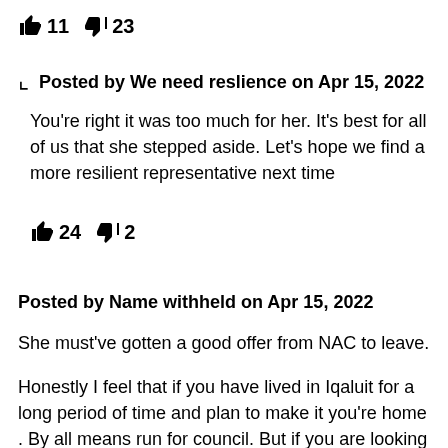👍 11  👎 23
Posted by We need reslience on Apr 15, 2022
You're right it was too much for her. It's best for all of us that she stepped aside. Let's hope we find a more resilient representative next time
👍 24  👎 2
Posted by Name withheld on Apr 15, 2022
She must've gotten a good offer from NAC to leave.
Honestly I feel that if you have lived in Iqaluit for a long period of time and plan to make it you're home . By all means run for council. But if you are looking to get